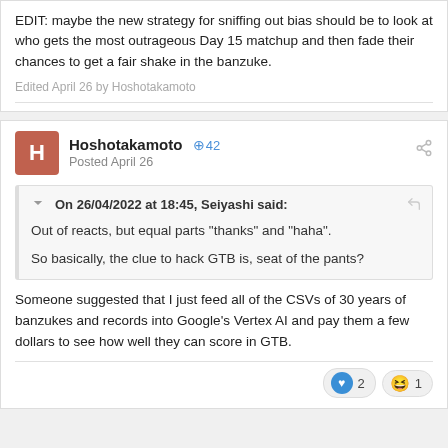EDIT: maybe the new strategy for sniffing out bias should be to look at who gets the most outrageous Day 15 matchup and then fade their chances to get a fair shake in the banzuke.
Edited April 26 by Hoshotakamoto
Hoshotakamoto +42 Posted April 26
On 26/04/2022 at 18:45, Seiyashi said:
Out of reacts, but equal parts "thanks" and "haha".
So basically, the clue to hack GTB is, seat of the pants?
Someone suggested that I just feed all of the CSVs of 30 years of banzukes and records into Google's Vertex AI and pay them a few dollars to see how well they can score in GTB.